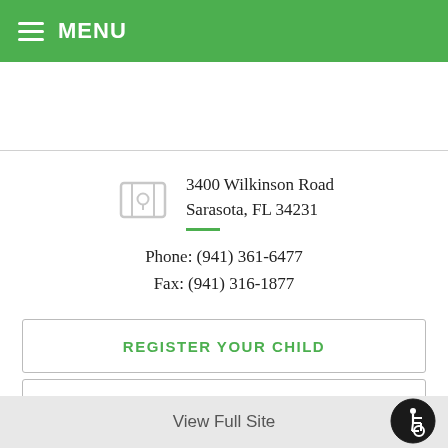MENU
3400 Wilkinson Road
Sarasota, FL 34231
Phone: (941) 361-6477
Fax: (941) 316-1877
REGISTER YOUR CHILD
LUNCH MENUS & ACCOUNTS
FIND A BUS ROUTE
View Full Site